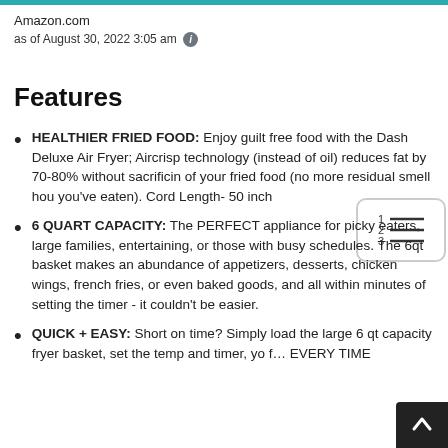Amazon.com
as of August 30, 2022 3:05 am ℹ
Features
HEALTHIER FRIED FOOD: Enjoy guilt free food with the Dash Deluxe Air Fryer; Aircrisp technology (instead of oil) reduces fat by 70-80% without sacrificing of your fried food (no more residual smell hours after you've eaten). Cord Length- 50 inch
6 QUART CAPACITY: The PERFECT appliance for picky eaters, large families, entertaining, or those with busy schedules. The 6qt basket makes an abundance of appetizers, desserts, chicken wings, french fries, or even baked goods, and all within minutes of setting the timer - it couldn't be easier.
QUICK + EASY: Short on time? Simply load the large 6 qt capacity fryer basket, set the temp and timer, yo... EVERY TIME